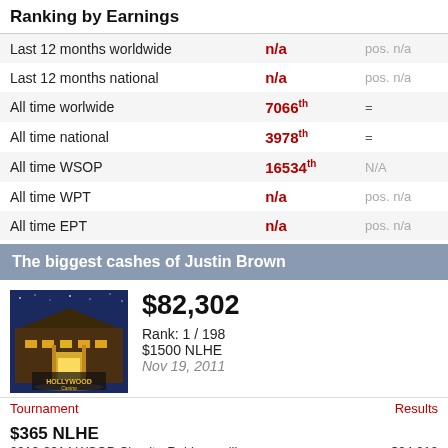Ranking by Earnings
|  |  |  |
| --- | --- | --- |
| Last 12 months worldwide | n/a | pos. n/a |
| Last 12 months national | n/a | pos. n/a |
| All time worlwide | 7066th | = |
| All time national | 3978th | = |
| All time WSOP | 16534th | N/A |
| All time WPT | n/a | pos. n/a |
| All time EPT | n/a | pos. n/a |
The biggest cashes of Justin Brown
[Figure (photo): Hollywood Casino building exterior at night]
$82,302
Rank: 1 / 198
$1500 NLHE
Nov 19, 2011
Tournament	Results
$365 NLHE
2013-2014 WSOP Circuit - Robinsonville
Harrahs Grand Casino - Tunica
Jan 27, 2014	$24,012
1 / 348
Event 3: $365 NLHE Re-entry